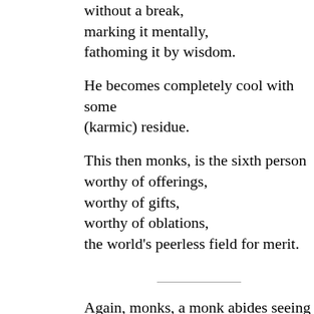without a break,
marking it mentally,
fathoming it by wisdom.
He becomes completely cool with some (karmic) residue.
This then monks, is the sixth person worthy of offerings,
worthy of gifts,
worthy of oblations,
the world's peerless field for merit.
Again, monks, a monk abides seeing dispassion for the eye
conscious of it,
aware of it,
at all times,
continually,
without a break,
marking it mentally,